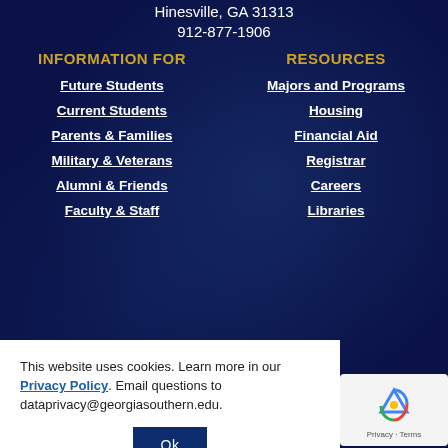Hinesville, GA 31313
912-877-1906
INFORMATION FOR
Future Students
Current Students
Parents & Families
Military & Veterans
Alumni & Friends
Faculty & Staff
RESOURCES
Majors and Programs
Housing
Financial Aid
Registrar
Careers
Libraries
Public Safety
IT Support
Directory
This website uses cookies. Learn more in our Privacy Policy. Email questions to dataprivacy@georgiasouthern.edu.